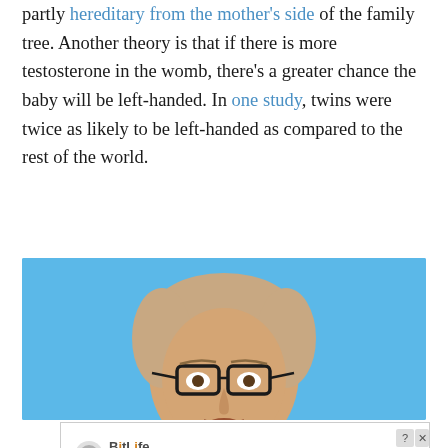partly hereditary from the mother's side of the family tree. Another theory is that if there is more testosterone in the womb, there's a greater chance the baby will be left-handed. In one study, twins were twice as likely to be left-handed as compared to the rest of the world.
[Figure (photo): Photograph of an older man with glasses and sandy grey hair, speaking, against a light blue background.]
[Figure (screenshot): Advertisement for BitLife game: 'NOW WITH GOD MODE' with sperm logo, yellow pointing hand, and close button.]